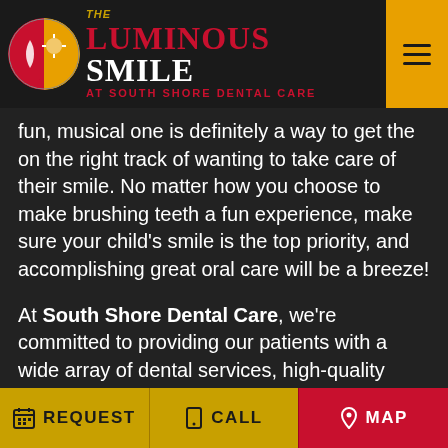THE LUMINOUS SMILE AT SOUTH SHORE DENTAL CARE
fun, musical one is definitely a way to get the on the right track of wanting to take care of their smile. No matter how you choose to make brushing teeth a fun experience, make sure your child's smile is the top priority, and accomplishing great oral care will be a breeze!

At South Shore Dental Care, we're committed to providing our patients with a wide array of dental services, high-quality cosmetic dentistry, and up to the minute dental technology. Our Massapequa dental office serves patients from Long Island,
REQUEST   CALL   MAP